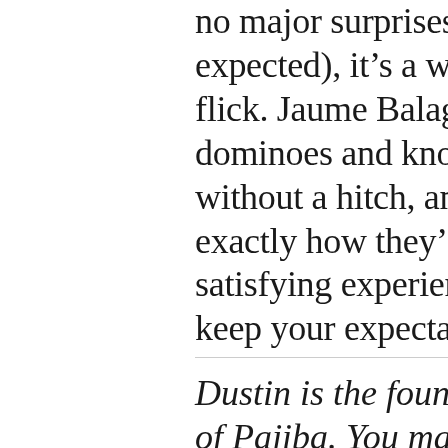no major surprises (even the “twist” is expected), it’s a well-executed heist flick. Jaume Balagueró lines up all the dominoes and knocks them down without a hitch, and even if we know exactly how they’ll fall, it remains a satisfying experience as long as you keep your expectations in check, Dad.
Dustin is the founder and co-owner of Pajiba. You may email him here,